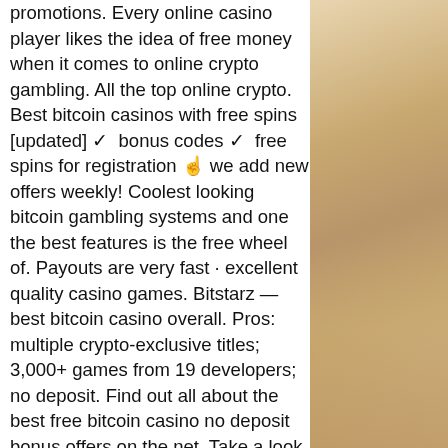promotions. Every online casino player likes the idea of free money when it comes to online crypto gambling. All the top online crypto. Best bitcoin casinos with free spins [updated] ✓ bonus codes ✓ free spins for registration ☝ we add new offers weekly! Coolest looking bitcoin gambling systems and one the best features is the free wheel of. Payouts are very fast · excellent quality casino games. Bitstarz — best bitcoin casino overall. Pros: multiple crypto-exclusive titles; 3,000+ games from 19 developers; no deposit. Find out all about the best free bitcoin casino no deposit bonus offers on the net. Take a look at what our partners have to provide you with! You're at the right spot! we've chosen the best ones for your pleasure, all licensed casinos with thrilling games and a variety of bonuses. You can join them. 100 no deposit bonuses, you must make a deposit before you can deposit on another no deposit bonus. Why take the risk
[Figure (photo): Blurred background image showing warm golden/brown tones, appears to be autumn leaves or similar natural elements]